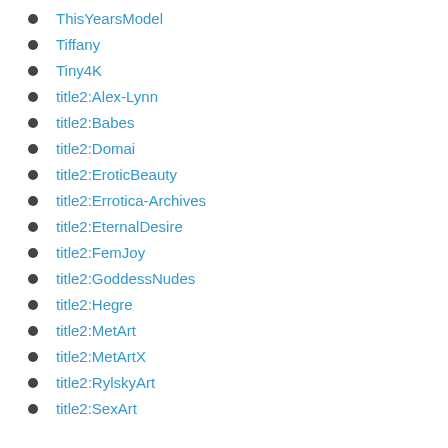ThisYearsModel
Tiffany
Tiny4K
title2:Alex-Lynn
title2:Babes
title2:Domai
title2:EroticBeauty
title2:Errotica-Archives
title2:EternalDesire
title2:FemJoy
title2:GoddessNudes
title2:Hegre
title2:MetArt
title2:MetArtX
title2:RylskyArt
title2:SexArt